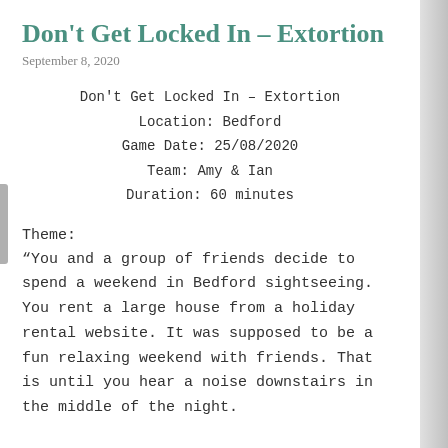Don't Get Locked In – Extortion
September 8, 2020
Don't Get Locked In – Extortion
Location: Bedford
Game Date: 25/08/2020
Team: Amy & Ian
Duration: 60 minutes
Theme:
“You and a group of friends decide to spend a weekend in Bedford sightseeing.  You rent a large house from a holiday rental website. It was supposed to be a fun relaxing weekend with friends. That is until you hear a noise downstairs in the middle of the night.